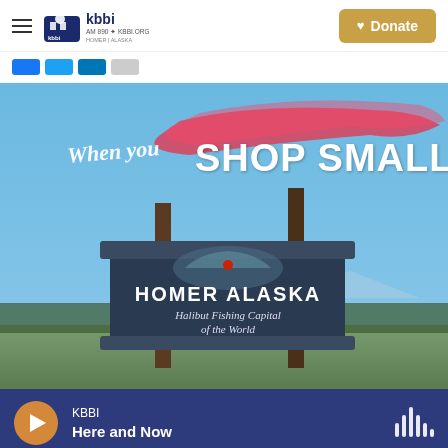KBBI AM 890 · KBBI.ORG Homer Alaska — hamburger menu, logo, Donate button
[Figure (screenshot): KBBI radio station website screenshot showing header with logo and Donate button, social media icons, a promotional image with text 'When you SHOP SMALL' overlaid on a photo of a Homer Alaska 'Halibut Fishing Capital of the World' sign, and a media player bar at the bottom showing KBBI playing 'Here and Now']
When you SHOP SMALL
HOMER ALASKA
Halibut Fishing Capital
of the World
KBBI
Here and Now